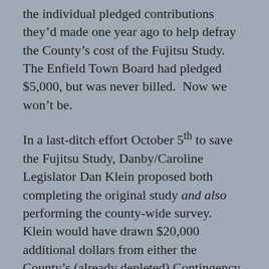the individual pledged contributions they'd made one year ago to help defray the County's cost of the Fujitsu Study.  The Enfield Town Board had pledged $5,000, but was never billed.  Now we won't be.
In a last-ditch effort October 5th to save the Fujitsu Study, Danby/Caroline Legislator Dan Klein proposed both completing the original study and also performing the county-wide survey.  Klein would have drawn $20,000 additional dollars from either the County's (already depleted) Contingency Fund or from Federal ARPA relief.  Klein's idea didn't fly.  The Legislature rejected it five votes to nine.  Among Enfield's legislators, Anne Koreman